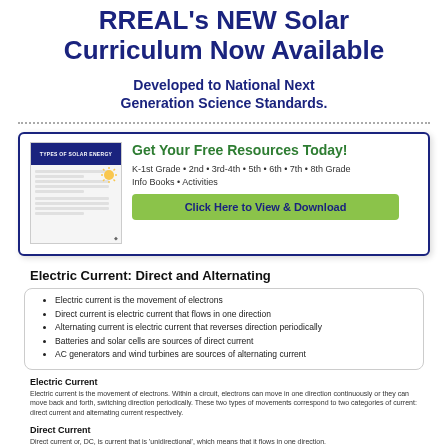RREAL's NEW Solar Curriculum Now Available
Developed to National Next Generation Science Standards.
[Figure (infographic): Promotional box with thumbnail image of a solar energy worksheet titled 'Types of Solar Energy' and a call-to-action button]
Get Your Free Resources Today!
K-1st Grade • 2nd • 3rd-4th • 5th • 6th • 7th • 8th Grade
Info Books • Activities
Click Here to View & Download
Electric Current: Direct and Alternating
Electric current is the movement of electrons
Direct current is electric current that flows in one direction
Alternating current is electric current that reverses direction periodically
Batteries and solar cells are sources of direct current
AC generators and wind turbines are sources of alternating current
Electric Current
Electric current is the movement of electrons. Within a circuit, electrons can move in one direction continuously or they can move back and forth, switching direction periodically. These two types of movements correspond to two categories of current: direct current and alternating current respectively.
Direct Current
Direct current or, DC, is current that is 'unidirectional', which means that it flows in one direction.